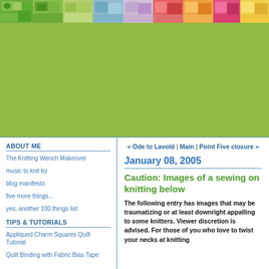[Figure (photo): Colorful fabric/textile mosaic banner image at the top of a knitting blog]
ABOUT ME
The Knitting Wench Makeover
music to knit by
blog manifesto
five more things...
yes, another 100 things list
TIPS & TUTORIALS
Appliqued Charm Squares Quilt Tutorial
Quilt Binding with Fabric Bias Tape
« Ode to Lavold | Main | Point Five closure »
January 08, 2005
Caution: Images of a sewing on knitting below
The following entry has images that may be traumatizing or at least downright appalling to some knitters. Viewer discretion is advised. For those of you who love to twist your necks at knitting